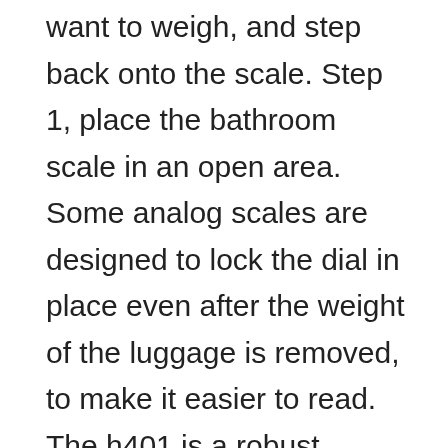want to weigh, and step back onto the scale. Step 1, place the bathroom scale in an open area. Some analog scales are designed to lock the dial in place even after the weight of the luggage is removed, to make it easier to read. The h401 is a robust baggage weighing scale, ideal for heavy or oversized items and able to stand up to tough airport environments. 4 tips on how to weigh luggage without a scale 1. Use a regular bathroom scale. Avoid overweight fees with this etekcity luggage scale, this scale can weigh up to 110/50 kg lb with an accuracy of 0.1lb/0.05. The steps to weigh your luggage using a bathroom scale are mentioned below. They also have a handy integrated measuring tape so you can use it to measure and weigh your luggage and to ensure you're within your allowance and size.